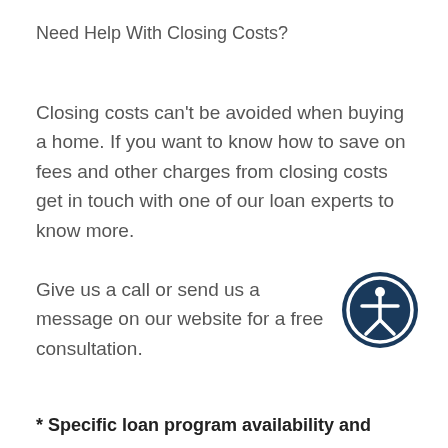Need Help With Closing Costs?
Closing costs can't be avoided when buying a home. If you want to know how to save on fees and other charges from closing costs get in touch with one of our loan experts to know more.
[Figure (illustration): Accessibility icon: dark navy circle with white human figure (person with arms and legs outstretched) inside a circle]
Give us a call or send us a message on our website for a free consultation.
* Specific loan program availability and